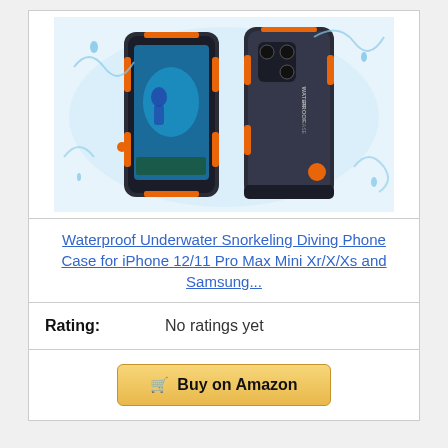[Figure (photo): Waterproof diving phone case with orange and dark gray/black design, showing front and back views of two phones in cases with water splash effect]
Waterproof Underwater Snorkeling Diving Phone Case for iPhone 12/11 Pro Max Mini Xr/X/Xs and Samsung...
Rating: No ratings yet
Buy on Amazon